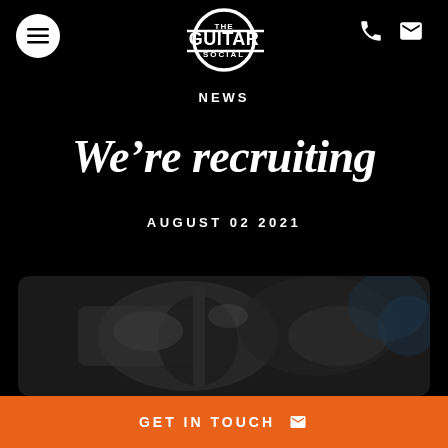[Figure (logo): The Guitar Social logo — white circular logo with 'THE GUITAR SOCIAL' text inside]
NEWS
We're recruiting
AUGUST 02 2021
[Figure (photo): Close-up photo of hands playing guitar, dark background, partially visible]
GET IN TOUCH